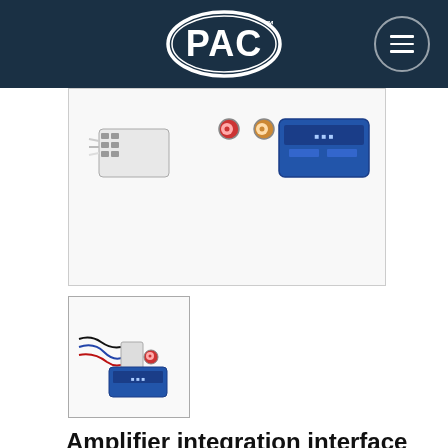PAC
[Figure (photo): Product photo of PAC amplifier integration interface showing wiring harnesses and blue module unit — partially cropped at top of page]
[Figure (photo): Thumbnail product photo of PAC amplifier integration interface for Corvette showing wiring harnesses and blue module unit]
Amplifier integration interface for Corvette
$75.00